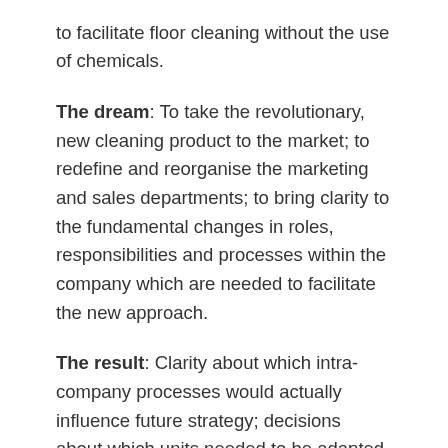to facilitate floor cleaning without the use of chemicals.
The dream: To take the revolutionary, new cleaning product to the market; to redefine and reorganise the marketing and sales departments; to bring clarity to the fundamental changes in roles, responsibilities and processes within the company which are needed to facilitate the new approach.
The result: Clarity about which intra-company processes would actually influence future strategy; decisions about which units needed to be adapted to deal with the change. Experts from all over the world were heard during the Kgotla, allowing the formulation of a truly global vision to tackle and solve problems.
The Kgotla led to a simplified changeover programme and greater clarity about roles and responsibilities